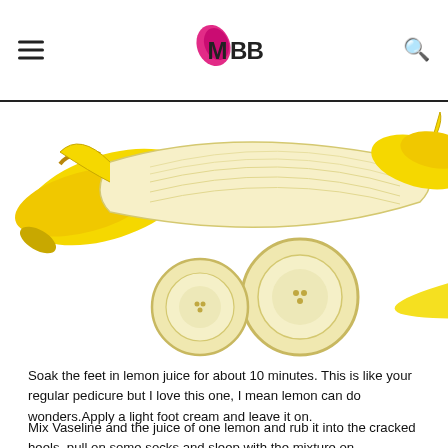IMBB
[Figure (photo): Bananas — whole and sliced pieces of peeled bananas on a white background]
Soak the feet in lemon juice for about 10 minutes. This is like your regular pedicure but I love this one, I mean lemon can do wonders.Apply a light foot cream and leave it on.
Mix Vaseline and the juice of one lemon and rub it into the cracked heels, pull on some socks and sleep with the mixture on.